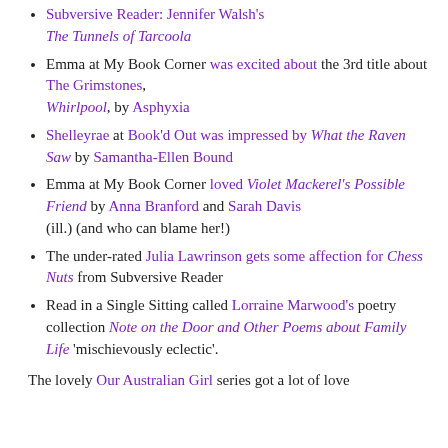Subversive Reader: Jennifer Walsh's The Tunnels of Tarcoola
Emma at My Book Corner was excited about the 3rd title about The Grimstones, Whirlpool, by Asphyxia
Shelleyrae at Book'd Out was impressed by What the Raven Saw by Samantha-Ellen Bound
Emma at My Book Corner loved Violet Mackerel's Possible Friend by Anna Branford and Sarah Davis (ill.) (and who can blame her!)
The under-rated Julia Lawrinson gets some affection for Chess Nuts from Subversive Reader
Read in a Single Sitting called Lorraine Marwood's poetry collection Note on the Door and Other Poems about Family Life 'mischievously eclectic'.
The lovely Our Australian Girl series got a lot of love